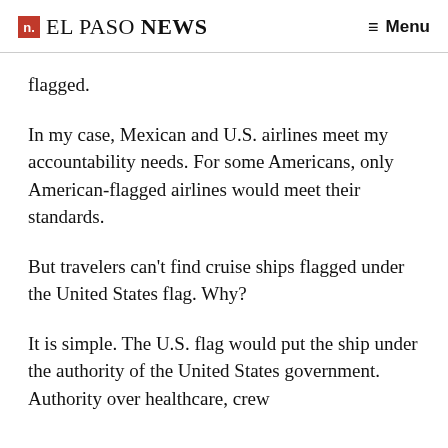n. EL PASO NEWS   ≡ Menu
flagged.
In my case, Mexican and U.S. airlines meet my accountability needs. For some Americans, only American-flagged airlines would meet their standards.
But travelers can't find cruise ships flagged under the United States flag. Why?
It is simple. The U.S. flag would put the ship under the authority of the United States government. Authority over healthcare, crew